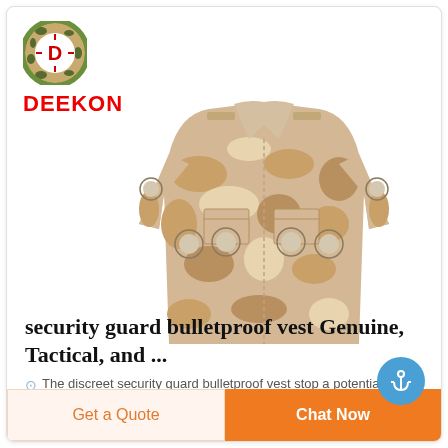[Figure (logo): Deekon brand logo: circular camouflage-pattern ring with letter D in red center, and DEEKON text in bold red below]
[Figure (photo): Desert camouflage military/security guard jacket with multiple badge patches, laid flat on white background]
security guard bulletproof vest Genuine, Tactical, and ...
The discreet security guard bulletproof vest stop a potential assassin from targeting the fatal and
Get a Quote
Chat Now